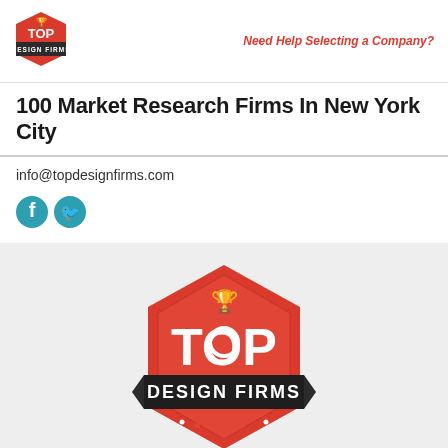[Figure (logo): Top Design Firms small logo in header - red hexagon badge with trophy]
Need Help Selecting a Company?
100 Market Research Firms In New York City
info@topdesignfirms.com
[Figure (logo): Social media icons: Facebook and Twitter in teal/cyan color]
[Figure (logo): Top Design Firms large logo - red hexagon badge with trophy, TOP text, DESIGN FIRMS banner ribbon, stars]
Top Design Firms © 2022